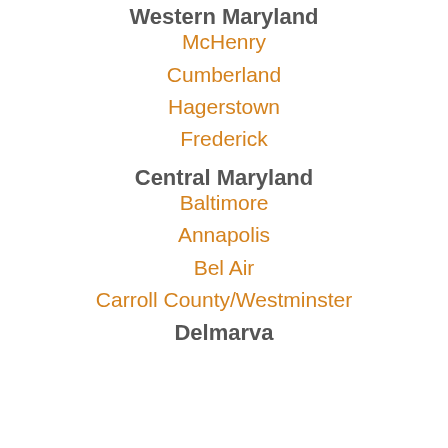Western Maryland
McHenry
Cumberland
Hagerstown
Frederick
Central Maryland
Baltimore
Annapolis
Bel Air
Carroll County/Westminster
Delmarva